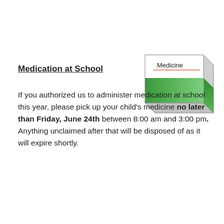Medication at School
[Figure (illustration): 3D illustration of a medicine box/package colored green and white with the word 'Medicine' on the label and a red line beneath it]
If you authorized us to administer medication at school this year, please pick up your child's medicine no later than Friday, June 24th between 8:00 am and 3:00 pm. Anything unclaimed after that will be disposed of as it will expire shortly.